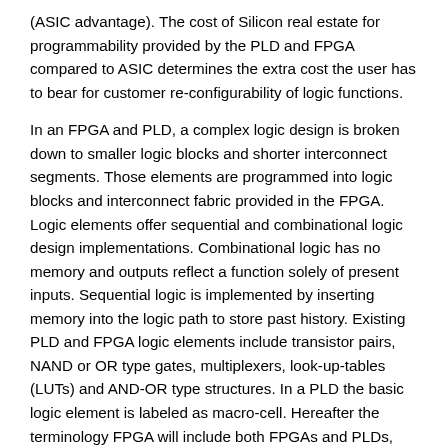(ASIC advantage). The cost of Silicon real estate for programmability provided by the PLD and FPGA compared to ASIC determines the extra cost the user has to bear for customer re-configurability of logic functions.
In an FPGA and PLD, a complex logic design is broken down to smaller logic blocks and shorter interconnect segments. Those elements are programmed into logic blocks and interconnect fabric provided in the FPGA. Logic elements offer sequential and combinational logic design implementations. Combinational logic has no memory and outputs reflect a function solely of present inputs. Sequential logic is implemented by inserting memory into the logic path to store past history. Existing PLD and FPGA logic elements include transistor pairs, NAND or OR type gates, multiplexers, look-up-tables (LUTs) and AND-OR type structures. In a PLD the basic logic element is labeled as macro-cell. Hereafter the terminology FPGA will include both FPGAs and PLDs, and the terminology logic element will include both logic elements and macro-cells. Granularity of a FPGA refers to logic content of a basic logic element. Smaller blocks of a complex logic design are customized to fit into FPGA grain. In fine-grain architectures, a small basic logic element is enclosed in a routing matrix and replicated. These offer easy logic fitting at the expense of complex routing. In course-grain architectures, many basic logic elements are combined with local routing and wrapped in a routing matrix to form a logic block. The logic block is then replicated with global routing. Larger logic